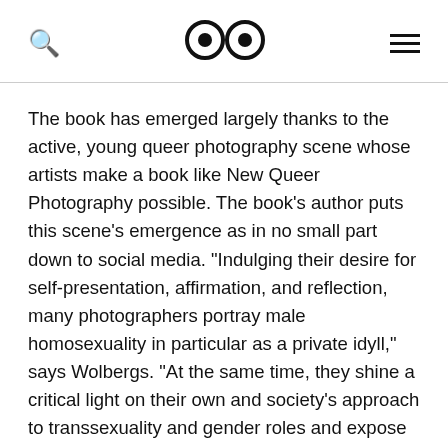[search icon] [eyes logo] [menu icon]
The book has emerged largely thanks to the active, young queer photography scene whose artists make a book like New Queer Photography possible. The book's author puts this scene's emergence as in no small part down to social media. "Indulging their desire for self-presentation, affirmation, and reflection, many photographers portray male homosexuality in particular as a private idyll," says Wolbergs. "At the same time, they shine a critical light on their own and society's approach to transsexuality and gender roles and expose the corrupting but also affirmative power of pornography."